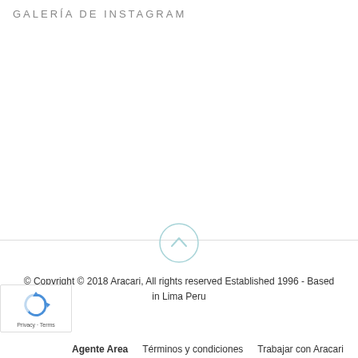GALERÍA DE INSTAGRAM
[Figure (other): Circular back-to-top button with upward chevron arrow, light teal border, centered on a horizontal divider line]
© Copyright © 2018 Aracari, All rights reserved Established 1996 - Based in Lima Peru
[Figure (other): reCAPTCHA badge with rotating arrows logo and Privacy · Terms text]
Agente Area   Términos y condiciones   Trabajar con Aracari